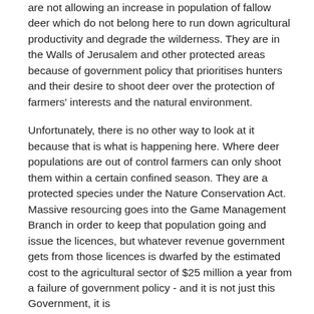are not allowing an increase in population of fallow deer which do not belong here to run down agricultural productivity and degrade the wilderness. They are in the Walls of Jerusalem and other protected areas because of government policy that prioritises hunters and their desire to shoot deer over the protection of farmers' interests and the natural environment.
Unfortunately, there is no other way to look at it because that is what is happening here. Where deer populations are out of control farmers can only shoot them within a certain confined season. They are a protected species under the Nature Conservation Act. Massive resourcing goes into the Game Management Branch in order to keep that population going and issue the licences, but whatever revenue government gets from those licences is dwarfed by the estimated cost to the agricultural sector of $25 million a year from a failure of government policy - and it is not just this Government, it is